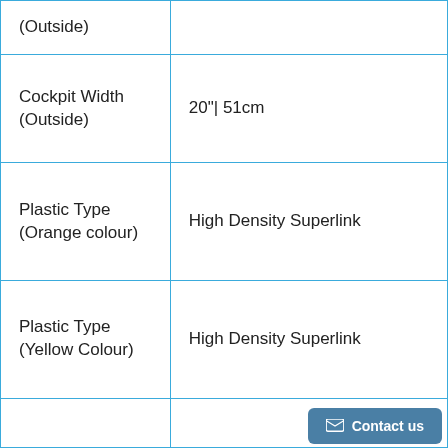| Property | Value |
| --- | --- |
| (Outside) |  |
| Cockpit Width (Outside) | 20"| 51cm |
| Plastic Type (Orange colour) | High Density Superlink |
| Plastic Type (Yellow Colour) | High Density Superlink |
|  |  |